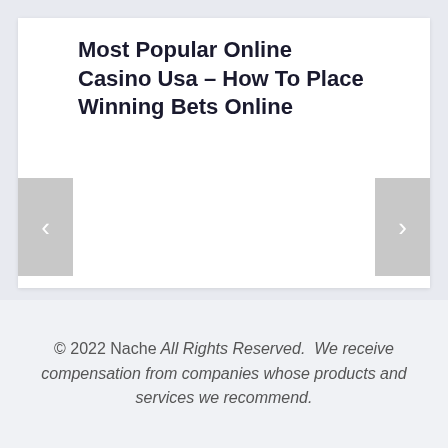Most Popular Online Casino Usa – How To Place Winning Bets Online
[Figure (other): A website slider/carousel UI element with a white background, showing navigation arrows (< and >) on left and right sides, and a title text block at the top.]
© 2022 Nache All Rights Reserved.  We receive compensation from companies whose products and services we recommend.